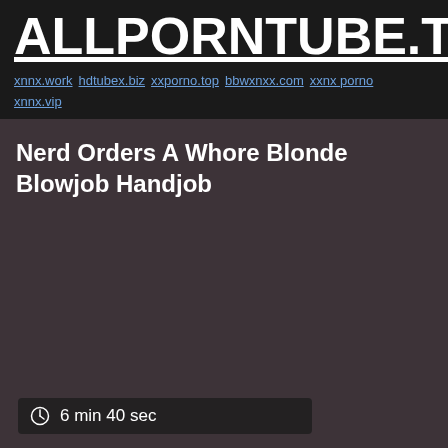ALLPORNTUBE.TOP
xnnx.work hdtubex.biz xxporno.top bbwxnxx.com xxnx porno xnnx.vip
Nerd Orders A Whore Blonde Blowjob Handjob
6 min 40 sec